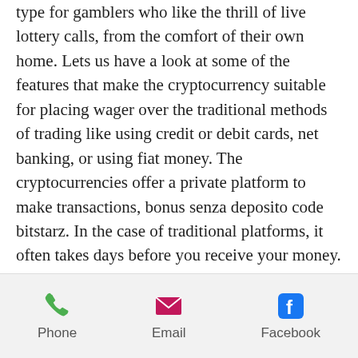type for gamblers who like the thrill of live lottery calls, from the comfort of their own home. Lets us have a look at some of the features that make the cryptocurrency suitable for placing wager over the traditional methods of trading like using credit or debit cards, net banking, or using fiat money. The cryptocurrencies offer a private platform to make transactions, bonus senza deposito code bitstarz. In the case of traditional platforms, it often takes days before you receive your money. First, you need to bypass the KYC process, which itself can take a couple of days, bitstarz free bonus codes. These giveaways are super easy to join, bitstarz free bonus codes. Check out the giveaway channels.
Bitstarz 25 gratisspinn,
Phone | Email | Facebook